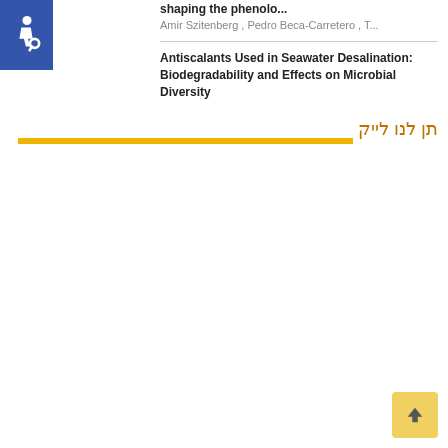[Figure (logo): Blue square accessibility icon with wheelchair symbol in white]
shaping the phenolo...
Amir Szitenberg , Pedro Beca-Carretero , T...
Antiscalants Used in Seawater Desalination: Biodegradability and Effects on Microbial Diversity
תן לנו לייק
[Figure (other): Yellow horizontal bar]
[Figure (other): Yellow back-to-top button with upward arrow]